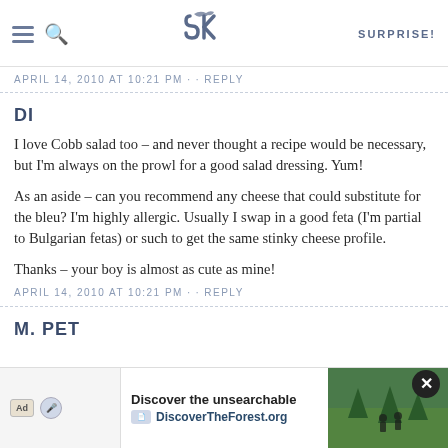SK | SURPRISE!
APRIL 14, 2010 AT 10:21 PM · · REPLY
DI
I love Cobb salad too – and never thought a recipe would be necessary, but I'm always on the prowl for a good salad dressing. Yum!
As an aside – can you recommend any cheese that could substitute for the bleu? I'm highly allergic. Usually I swap in a good feta (I'm partial to Bulgarian fetas) or such to get the same stinky cheese profile.
Thanks – your boy is almost as cute as mine!
APRIL 14, 2010 AT 10:21 PM · · REPLY
M. PET
[Figure (screenshot): Advertisement banner: 'Discover the unsearchable' with DiscoverTheForest.org logo and a photo of people in a forest. Close button (X) visible.]